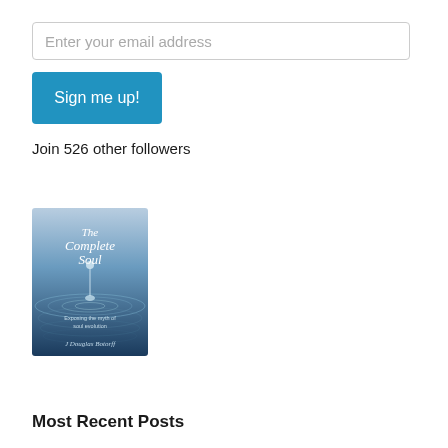Enter your email address
Sign me up!
Join 526 other followers
[Figure (photo): Book cover for 'The Complete Soul' by J Douglas Botorff, featuring a water droplet ripple on a blue background]
Most Recent Posts